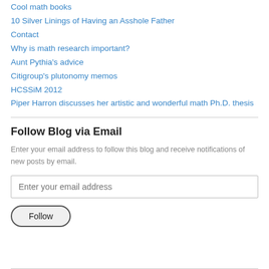Cool math books
10 Silver Linings of Having an Asshole Father
Contact
Why is math research important?
Aunt Pythia's advice
Citigroup's plutonomy memos
HCSSiM 2012
Piper Harron discusses her artistic and wonderful math Ph.D. thesis
Follow Blog via Email
Enter your email address to follow this blog and receive notifications of new posts by email.